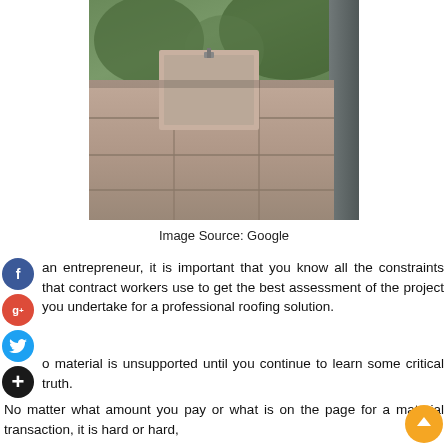[Figure (photo): Close-up photograph of roofing tiles/sheets stacked or installed, with greenery visible in background]
Image Source: Google
an entrepreneur, it is important that you know all the constraints that contract workers use to get the best assessment of the project you undertake for a professional roofing solution.
o material is unsupported until you continue to learn some critical truth.
No matter what amount you pay or what is on the page for a material transaction, it is hard or hard,